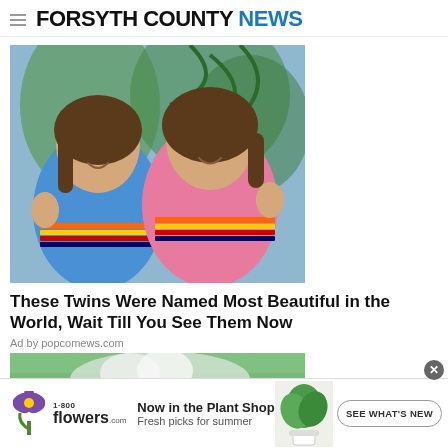FORSYTH COUNTY NEWS
[Figure (photo): Two young twin girls making peace signs with their hands, wearing matching colorful striped jackets (one blue, one pink), with palm trees in background]
These Twins Were Named Most Beautiful in the World, Wait Till You See Them Now
Ad by popcomews.com
[Figure (photo): Partial view of a white fluffy animal on green grass]
[Figure (other): 1-800-flowers.com advertisement banner: Now in the Plant Shop - Fresh picks for summer, with SEE WHAT'S NEW button and plant image]